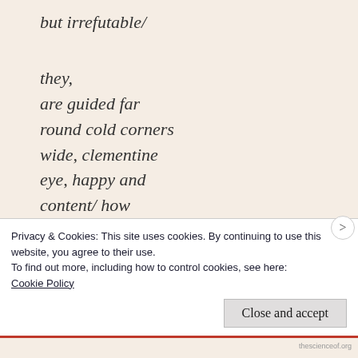but irrefutable/
they,
are guided far
round cold corners
wide, clementine
eye, happy and
content/ how
the heart
keeps the mind
stays the heart
Privacy & Cookies: This site uses cookies. By continuing to use this website, you agree to their use.
To find out more, including how to control cookies, see here:
Cookie Policy
Close and accept